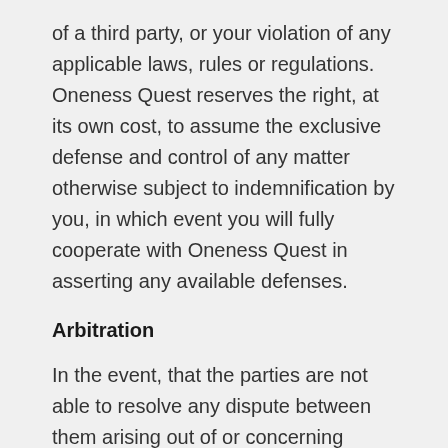of a third party, or your violation of any applicable laws, rules or regulations. Oneness Quest reserves the right, at its own cost, to assume the exclusive defense and control of any matter otherwise subject to indemnification by you, in which event you will fully cooperate with Oneness Quest in asserting any available defenses.
Arbitration
In the event, that the parties are not able to resolve any dispute between them arising out of or concerning these Terms